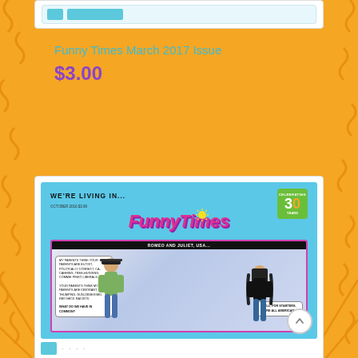[Figure (screenshot): Top portion of a product listing page showing a white card with a blue/teal UI element (navigation bar with buttons) partially visible at the top.]
Funny Times March 2017 Issue
$3.00
[Figure (illustration): Magazine cover of Funny Times showing a cartoon comic titled 'Romeo and Juliet, USA...' with two young people facing each other with speech bubbles about their parents' differing political views, and the response 'Well, for starters, we're all Americans.' The cover features the large pink 'Funny Times' logo on a blue background with a '30 Years Celebrating' badge in the upper right corner.]